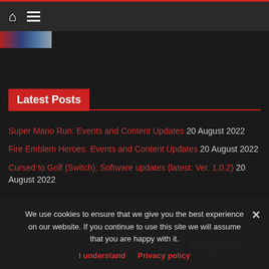Home menu navigation header
[Figure (photo): Partial image strip visible at top left below header]
Latest Posts
Super Mario Run: Events and Content Updates 20 August 2022
Fire Emblem Heroes: Events and Content Updates 20 August 2022
Cursed to Golf (Switch): Software updates (latest: Ver. 1.0.2) 20 August 2022
Animal Crossing: Pocket Camp – Events and Content Updates 20 August 2022
Pokémon distributions: Scarlet and Violet, Legends: Arceus, Brilliant Diamond and Shining Pearl, Sword and Shield, etc. 20 August 2022
We use cookies to ensure that we give you the best experience on our website. If you continue to use this site we will assume that you are happy with it.
I understand  Privacy policy